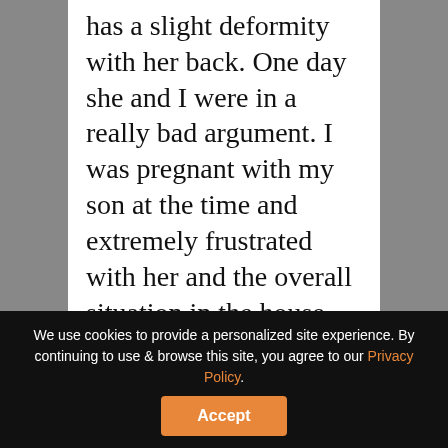has a slight deformity with her back. One day she and I were in a really bad argument. I was pregnant with my son at the time and extremely frustrated with her and the overall situation in the house. In a rage I called her retarded, I feel so bad even writing this so many years later. When I said it I quickly rescinded the statement knowing it was wrong. I tried to clean up the
We use cookies to provide a personalized site experience. By continuing to use & browse this site, you agree to our Privacy Policy.
Accept